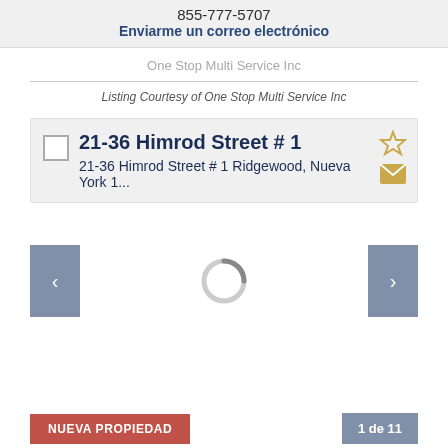855-777-5707
Enviarme un correo electrónico
One Stop Multi Service Inc
Listing Courtesy of One Stop Multi Service Inc
21-36 Himrod Street # 1
21-36 Himrod Street # 1 Ridgewood, Nueva York 1...
[Figure (other): Loading spinner circle graphic in carousel area]
NUEVA PROPIEDAD
1 de 11